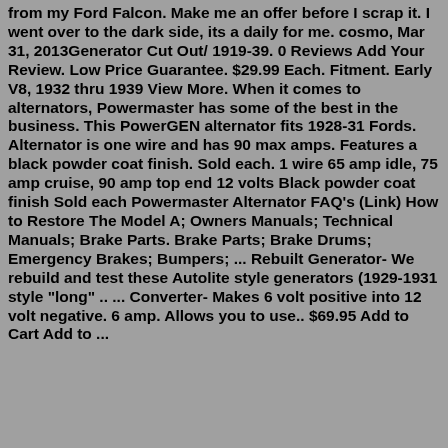from my Ford Falcon. Make me an offer before I scrap it. I went over to the dark side, its a daily for me. cosmo, Mar 31, 2013Generator Cut Out/ 1919-39. 0 Reviews Add Your Review. Low Price Guarantee. $29.99 Each. Fitment. Early V8, 1932 thru 1939 View More. When it comes to alternators, Powermaster has some of the best in the business. This PowerGEN alternator fits 1928-31 Fords. Alternator is one wire and has 90 max amps. Features a black powder coat finish. Sold each. 1 wire 65 amp idle, 75 amp cruise, 90 amp top end 12 volts Black powder coat finish Sold each Powermaster Alternator FAQ's (Link) How to Restore The Model A; Owners Manuals; Technical Manuals; Brake Parts. Brake Parts; Brake Drums; Emergency Brakes; Bumpers; ... Rebuilt Generator- We rebuild and test these Autolite style generators (1929-1931 style "long" .. ... Converter- Makes 6 volt positive into 12 volt negative. 6 amp. Allows you to use.. $69.95 Add to Cart Add to ...